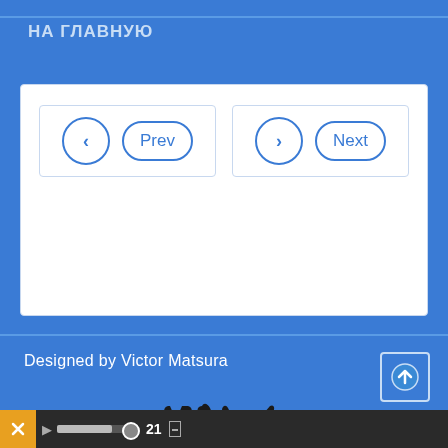НА ГЛАВНУЮ
[Figure (screenshot): Navigation pagination widget with Prev and Next buttons, each with a circular arrow icon and rounded label, inside a white bordered box]
Designed by Victor Matsura
[Figure (logo): VM logo in dark stylized lettering with 'powered' text below]
21